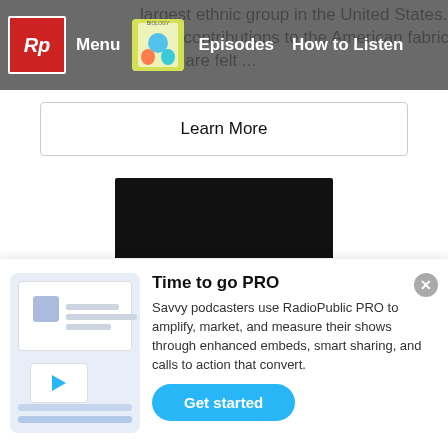Menu | Episodes | How to Listen
largest ethnic group in the United States. Their contributions to the American fabric of life are felt ...
Learn More
[Figure (illustration): Dark/black square podcast cover art for FrazlCast]
FrazlCast
By a Blizzard fan-gnome about World of
[Figure (infographic): RadioPublic PRO promotional banner with illustration of podcast embed and Get started button]
Time to go PRO
Savvy podcasters use RadioPublic PRO to amplify, market, and measure their shows through enhanced embeds, smart sharing, and calls to action that convert.
Get started